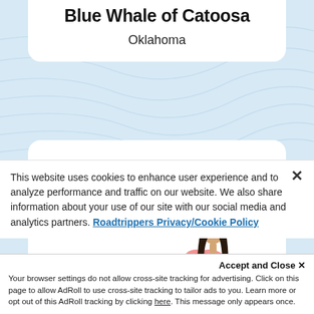Blue Whale of Catoosa
Oklahoma
[Figure (illustration): Partial white card with a small illustrated figure of a person with long dark hair wearing a pink top, visible in the lower right area of the card]
This website uses cookies to enhance user experience and to analyze performance and traffic on our website. We also share information about your use of our site with our social media and analytics partners. Roadtrippers Privacy/Cookie Policy
Accept and Close ×
Your browser settings do not allow cross-site tracking for advertising. Click on this page to allow AdRoll to use cross-site tracking to tailor ads to you. Learn more or opt out of this AdRoll tracking by clicking here. This message only appears once.